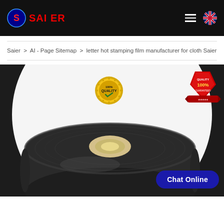SAIER
Saier > AI - Page Sitemap > letter hot stamping film manufacturer for cloth Saier
[Figure (photo): A roll of black hot stamping film on a white arch-shaped background with dark surroundings. Two gold/red quality badge overlays: one gold medal '100% QUALITY' badge in the center top, one red 'QUALITY 100% GUARANTEED' shield badge on the right. A 'Chat Online' button in dark blue is overlaid at the bottom right.]